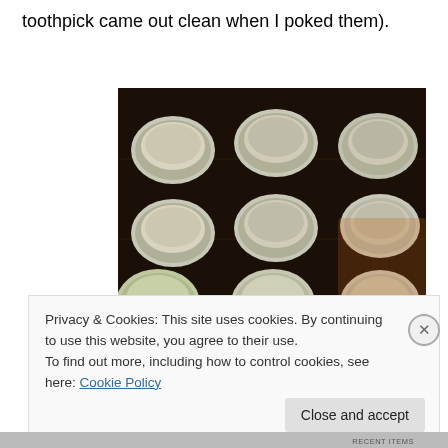toothpick came out clean when I poked them).
[Figure (photo): Muffin tin with white paper cupcake liners filled with batter inside an oven, viewed from above. Three rows of four muffin cups visible on a dark baking tray.]
Privacy & Cookies: This site uses cookies. By continuing to use this website, you agree to their use.
To find out more, including how to control cookies, see here: Cookie Policy
Close and accept